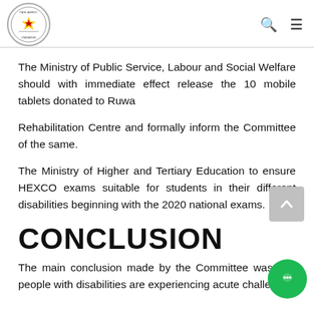Parliament of Zimbabwe
The Ministry of Public Service, Labour and Social Welfare should with immediate effect release the 10 mobile tablets donated to Ruwa
Rehabilitation Centre and formally inform the Committee of the same.
The Ministry of Higher and Tertiary Education to ensure HEXCO exams suitable for students in their different disabilities beginning with the 2020 national exams.
CONCLUSION
The main conclusion made by the Committee was that people with disabilities are experiencing acute challenges